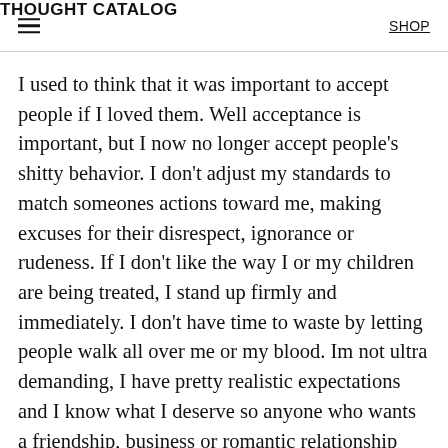THOUGHT CATALOG   SHOP
I used to think that it was important to accept people if I loved them. Well acceptance is important, but I now no longer accept people's shitty behavior. I don't adjust my standards to match someones actions toward me, making excuses for their disrespect, ignorance or rudeness. If I don't like the way I or my children are being treated, I stand up firmly and immediately. I don't have time to waste by letting people walk all over me or my blood. Im not ultra demanding, I have pretty realistic expectations and I know what I deserve so anyone who wants a friendship, business or romantic relationship with me will just have to get with it.